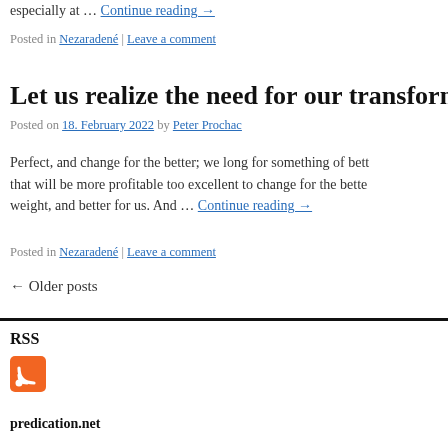especially at … Continue reading →
Posted in Nezaradené | Leave a comment
Let us realize the need for our transforma…
Posted on 18. February 2022 by Peter Prochac
Perfect, and change for the better; we long for something of better that will be more profitable too excellent to change for the better weight, and better for us. And … Continue reading →
Posted in Nezaradené | Leave a comment
← Older posts
RSS
[Figure (logo): RSS feed orange icon]
predication.net